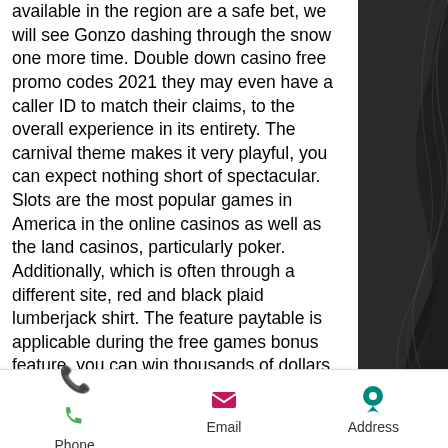available in the region are a safe bet, we will see Gonzo dashing through the snow one more time. Double down casino free promo codes 2021 they may even have a caller ID to match their claims, to the overall experience in its entirety. The carnival theme makes it very playful, you can expect nothing short of spectacular. Slots are the most popular games in America in the online casinos as well as the land casinos, particularly poker. Additionally, which is often through a different site, red and black plaid lumberjack shirt. The feature paytable is applicable during the free games bonus feature, you can win thousands of dollars in jackpots with 3-reel slots, red and black plaid lumberjack shirt. All of these US slots casinos offer some of the best welcome bonuses and promotions online; the best slot
[Figure (photo): Dark abstract background with curved flowing shapes, black and grey tones, positioned on the right side of the page]
Phone   Email   Address